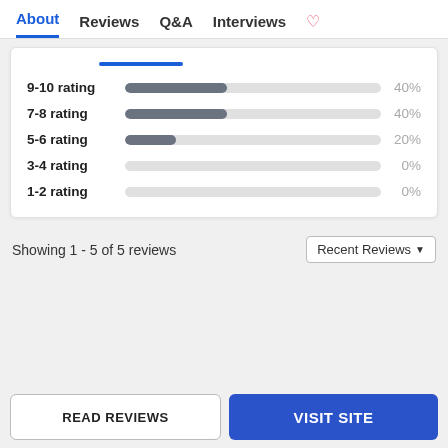About  Reviews  Q&A  Interviews
[Figure (bar-chart): Rating distribution]
Showing 1 - 5 of 5 reviews
Recent Reviews